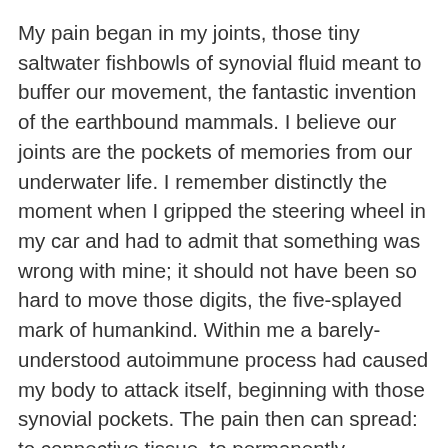My pain began in my joints, those tiny saltwater fishbowls of synovial fluid meant to buffer our movement, the fantastic invention of the earthbound mammals. I believe our joints are the pockets of memories from our underwater life. I remember distinctly the moment when I gripped the steering wheel in my car and had to admit that something was wrong with mine; it should not have been so hard to move those digits, the five-splayed mark of humankind. Within me a barely-understood autoimmune process had caused my body to attack itself, beginning with those synovial pockets. The pain then can spread: to connective tissue, to permanently aggravated nerves, and to various weakened organs. Pain compounds health problems because it tempts the sufferer to move as little as possible, as if to allow the beast to